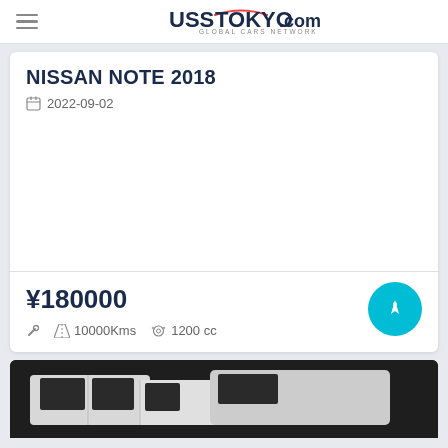UssTokyo.com — Global Cars Network
NISSAN NOTE 2018
2022-09-02
¥180000
10000Kms   1200 cc
[Figure (photo): White van/vehicle partially visible at bottom of page]